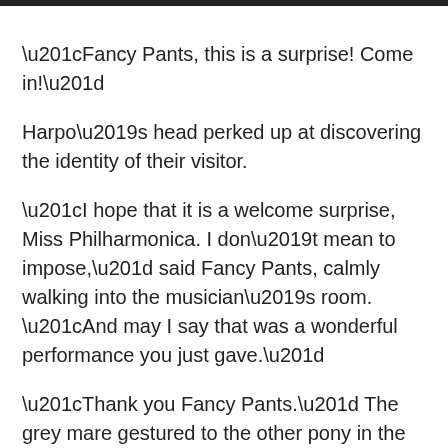“Fancy Pants, this is a surprise! Come in!”
Harpo’s head perked up at discovering the identity of their visitor.
“I hope that it is a welcome surprise, Miss Philharmonica. I don’t mean to impose,” said Fancy Pants, calmly walking into the musician’s room. “And may I say that was a wonderful performance you just gave.”
“Thank you Fancy Pants.” The grey mare gestured to the other pony in the room, who was currently sitting stiffly and trying to look comfortable. “This is Harpo Parish Nadermane, composer and occasional harp player. He wrote the piece you heard just now.”
“We have sent a small...